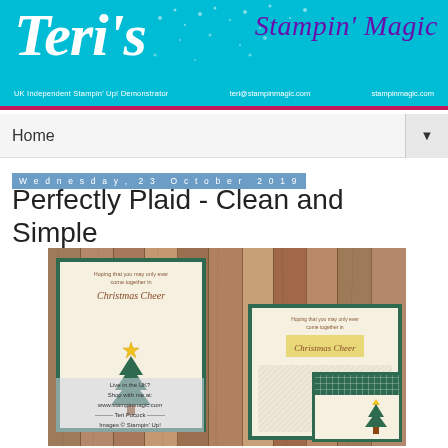Teri's Stampin' Magic — UK Independent Stampin' Up! Demonstrator — teri@stampinmagic.com — stampinmagic.com
Home
Wednesday, 23 October 2019
Perfectly Plaid - Clean and Simple
[Figure (photo): Photo showing Christmas cards featuring a Christmas tree stamp and 'Christmas Cheer' sentiment, against a wood plank background. Cards show green borders on cream cardstock. A small card with plaid green pattern is also visible. Watermark reads: Live in the UK? Shop with me at: www.stampinmagic.com — Teri Pocock — Images © Stampin' Up!]